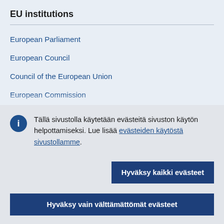EU institutions
European Parliament
European Council
Council of the European Union
European Commission
Tällä sivustolla käytetään evästeitä sivuston käytön helpottamiseksi. Lue lisää evästeiden käytöstä sivustollamme.
Hyväksy kaikki evästeet
Hyväksy vain välttämättömät evästeet